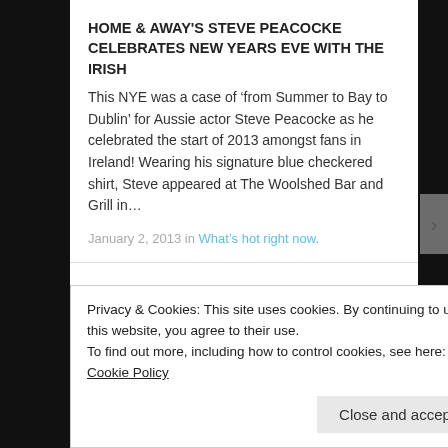HOME & AWAY'S STEVE PEACOCKE CELEBRATES NEW YEARS EVE WITH THE IRISH
This NYE was a case of ‘from Summer to Bay to Dublin’ for Aussie actor Steve Peacocke as he celebrated the start of 2013 amongst fans in Ireland! Wearing his signature blue checkered shirt, Steve appeared at The Woolshed Bar and Grill in…
January 2, 2013 in What’s hot right now.
HOME & AWAY'S STEVE PEACOCKE
Privacy & Cookies: This site uses cookies. By continuing to use this website, you agree to their use.
To find out more, including how to control cookies, see here: Cookie Policy
Close and accept